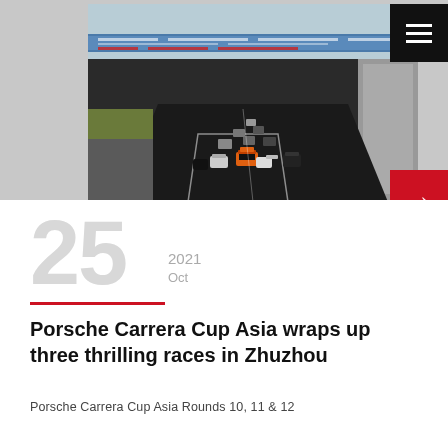[Figure (photo): Race cars on a circuit track at a motorsport event, with banners visible in the background including 2021 CTCC China Touring Car Championship and TCR Championship signage. Multiple race cars including an orange sports car visible on the dark asphalt track.]
25
2021
Oct
Porsche Carrera Cup Asia wraps up three thrilling races in Zhuzhou
Porsche Carrera Cup Asia Rounds 10, 11 & 12